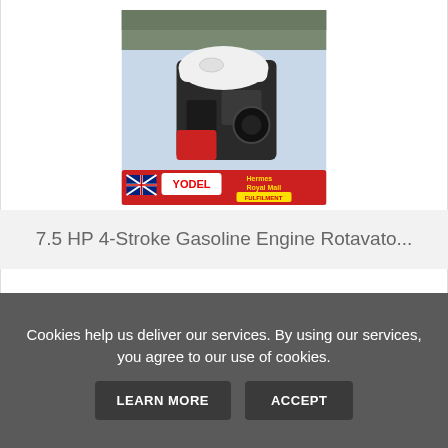[Figure (photo): Product photo of a 7.5 HP 4-Stroke Gasoline Engine Rotavator with a white plastic cover on top and black engine body, displayed with a Yodel/Royal Mail/Hermes delivery banner at the bottom showing UK flag]
7.5 HP 4-Stroke Gasoline Engine Rotavato...
£129.00
VIEW
BUY ON EBAY
Cookies help us deliver our services. By using our services, you agree to our use of cookies.
LEARN MORE
ACCEPT